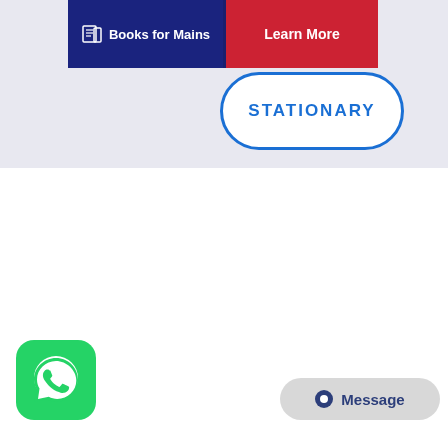[Figure (screenshot): Top portion of an educational website/app interface showing a dark navy blue background with two buttons: a dark blue button on the left with a book icon labeled 'Books for Mains' and a red button on the right labeled 'Learn More'. Below and to the right is a white rounded pill/oval button with blue outline and blue text reading 'STATIONARY'. The background behind the banner area is light lavender/periwinkle.]
[Figure (logo): WhatsApp app icon: green rounded square background with white phone handset/chat bubble logo inside.]
[Figure (screenshot): Message button widget in bottom right corner: light gray rounded rectangle with dark blue circle dot icon and text 'Message'.]